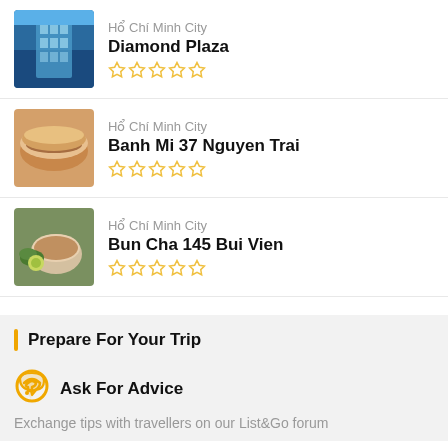Hổ Chí Minh City — Diamond Plaza — 5 empty stars
Hổ Chí Minh City — Banh Mi 37 Nguyen Trai — 5 empty stars
Hổ Chí Minh City — Bun Cha 145 Bui Vien — 5 empty stars
Prepare For Your Trip
Ask For Advice
Exchange tips with travellers on our List&Go forum